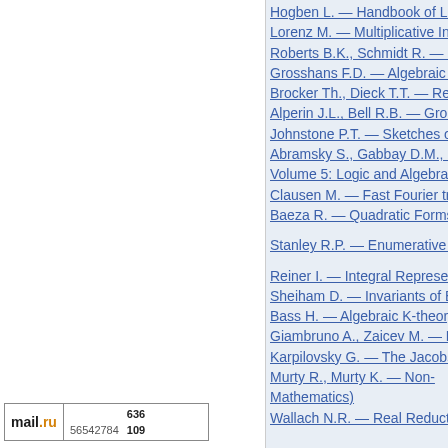Hogben L. — Handbook of Linea...
Lorenz M. — Multiplicative Invari...
Roberts B.K., Schmidt R. — Loca...
Grosshans F.D. — Algebraic Hom...
Brocker Th., Dieck T.T. — Repres...
Alperin J.L., Bell R.B. — Groups...
Johnstone P.T. — Sketches of an...
Abramsky S., Gabbay D.M., Ma...
Volume 5: Logic and Algebraic M...
Clausen M. — Fast Fourier trans...
Baeza R. — Quadratic Forms Ov...
Stanley R.P. — Enumerative Com...
Reiner I. — Integral Representat...
Sheiham D. — Invariants of Bour...
Bass H. — Algebraic K-theory
Giambruno A., Zaicev M. — Poly...
Karpilovsky G. — The Jacobson...
Murty R., Murty K. — Non-... Mathematics)
Wallach N.R. — Real Reductive...
[Figure (logo): Mail.ru counter badge showing statistics: 636 and 56542784 / 109]